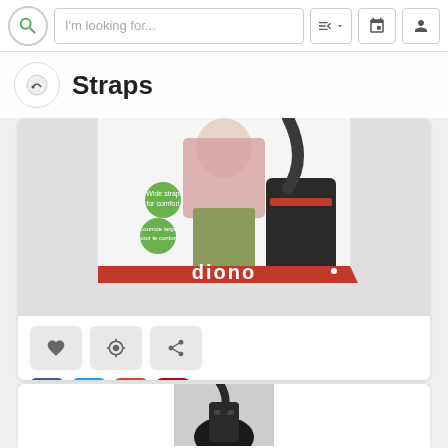I'm looking for...
Straps
[Figure (photo): Diono Radian 2" Carry Strap, Black product image showing a person carrying a bag with wide strap, Diono branding in red at bottom]
Diono Radian 2" Carry Strap, Black By Diono
$6.95 ebay
♥ 0  0  0